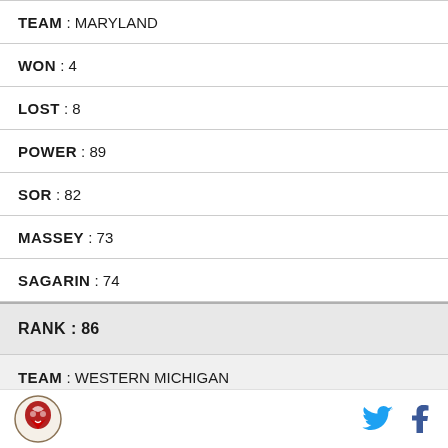TEAM : MARYLAND
WON : 4
LOST : 8
POWER : 89
SOR : 82
MASSEY : 73
SAGARIN : 74
RANK : 86
TEAM : WESTERN MICHIGAN
WON : 6
LOST : 6